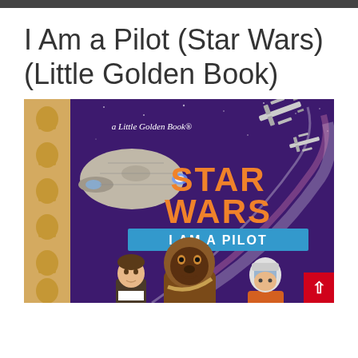I Am a Pilot (Star Wars) (Little Golden Book)
[Figure (illustration): Book cover of 'I Am a Pilot' Star Wars Little Golden Book, showing the Millennium Falcon, X-wing fighters, Han Solo, Chewbacca, and a Resistance pilot against a purple space background. The spine shows a tan/gold pattern with Darth Vader helmet motifs. Title reads 'a Little Golden Book' at top, 'STAR WARS' in large orange letters, and 'I AM A PILOT' in white letters on a blue banner.]